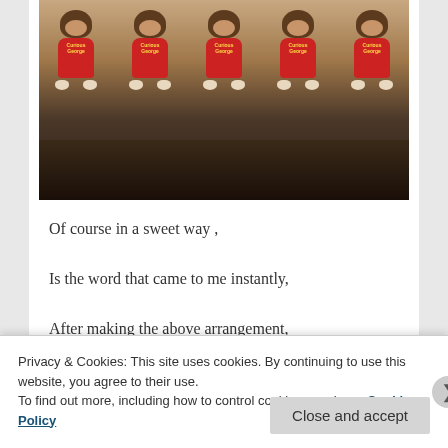[Figure (photo): A row of Curious George stuffed animal toys in red shirts sitting on a dark patterned surface]
Of course in a sweet way ,
Is the word that came to me instantly,
After making the above arrangement,
Privacy & Cookies: This site uses cookies. By continuing to use this website, you agree to their use.
To find out more, including how to control cookies, see here: Cookie Policy
Close and accept